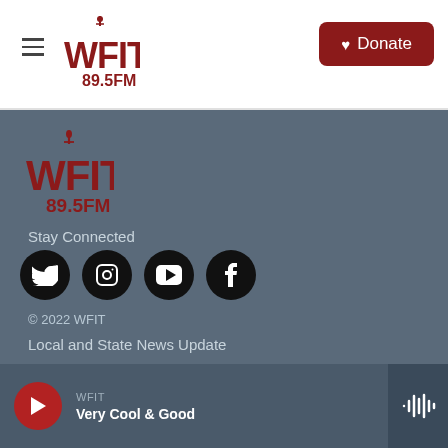WFIT 89.5FM — Donate
[Figure (logo): WFIT 89.5FM radio station logo in dark red/maroon on white background, header]
[Figure (logo): WFIT 89.5FM radio station logo in dark red/maroon on dark grey footer background]
Stay Connected
[Figure (infographic): Four social media icons in black circles: Twitter, Instagram, YouTube, Facebook]
© 2022 WFIT
Local and State News Update
WFIT — Very Cool & Good